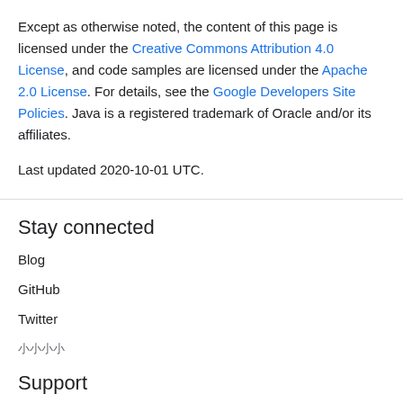Except as otherwise noted, the content of this page is licensed under the Creative Commons Attribution 4.0 License, and code samples are licensed under the Apache 2.0 License. For details, see the Google Developers Site Policies. Java is a registered trademark of Oracle and/or its affiliates.
Last updated 2020-10-01 UTC.
Stay connected
Blog
GitHub
Twitter
小小小小
Support
Issue tracker
Release notes